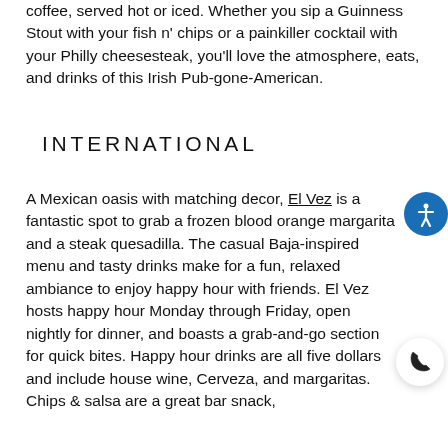coffee, served hot or iced. Whether you sip a Guinness Stout with your fish n' chips or a painkiller cocktail with your Philly cheesesteak, you'll love the atmosphere, eats, and drinks of this Irish Pub-gone-American.
INTERNATIONAL
A Mexican oasis with matching decor, El Vez is a fantastic spot to grab a frozen blood orange margarita and a steak quesadilla. The casual Baja-inspired menu and tasty drinks make for a fun, relaxed ambiance to enjoy happy hour with friends. El Vez hosts happy hour Monday through Friday, open nightly for dinner, and boasts a grab-and-go section for quick bites. Happy hour drinks are all five dollars and include house wine, Cerveza, and margaritas. Chips & salsa are a great bar snack,